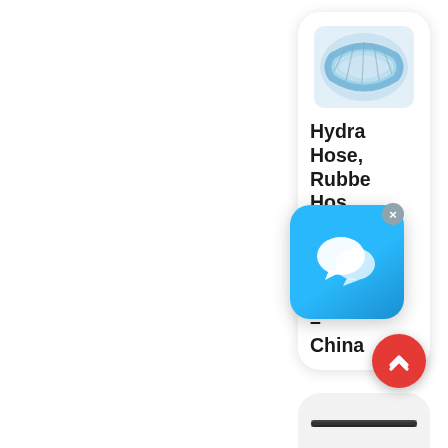[Figure (screenshot): Product card showing a hydraulic hose coil image at top, followed by truncated product title text: 'Hydraulic Hose, Rubber Hose, Wire Braided Rubber Hose – China', with a blue chat popup overlay and a red scroll-to-top button]
Hydraulic Hose, Rubber Hose, Wire Braided Rubber Hose – China
[Figure (screenshot): Bottom of a second product card partially visible showing a dark hose product image]